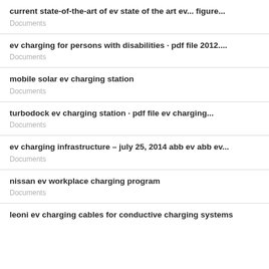current state-of-the-art of ev state of the art ev... figure...
Documents
ev charging for persons with disabilities · pdf file 2012....
Documents
mobile solar ev charging station
Documents
turbodock ev charging station · pdf file ev charging...
Documents
ev charging infrastructure – july 25, 2014 abb ev abb ev...
Documents
nissan ev workplace charging program
Documents
leoni ev charging cables for conductive charging systems